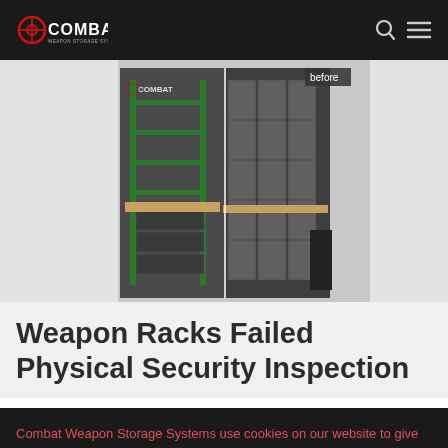Combat Weapon Storage Systems — Navigation bar with logo, search icon, and menu icon
[Figure (photo): Before and after comparison photo of a weapon storage room. Left side shows green shelving racks with drawers, right side shows gray modular lockers/cabinets. Label 'before' visible at top right of the composite image. Combat logo visible on the image.]
Weapon Racks Failed Physical Security Inspection
Combat Weapon Storage Systems use cookies on our website to give you the most relevant experience by remembering your preferences and repeat visits. By clicking “Accept”, you consent to the use of ALL the cookies. Do not sell my personal information.